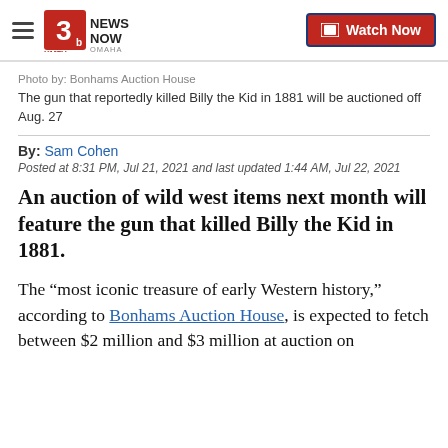3 News Now KMTV Omaha | Watch Now
Photo by: Bonhams Auction House
The gun that reportedly killed Billy the Kid in 1881 will be auctioned off Aug. 27
By: Sam Cohen
Posted at 8:31 PM, Jul 21, 2021 and last updated 1:44 AM, Jul 22, 2021
An auction of wild west items next month will feature the gun that killed Billy the Kid in 1881.
The “most iconic treasure of early Western history,” according to Bonhams Auction House, is expected to fetch between $2 million and $3 million at auction on